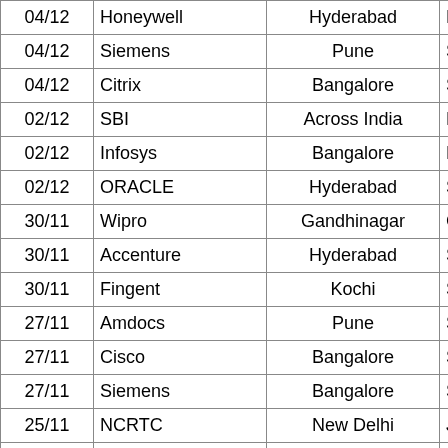| Date | Company | Location | Role |
| --- | --- | --- | --- |
| 04/12 | Honeywell | Hyderabad | Em… |
| 04/12 | Siemens | Pune | So… |
| 04/12 | Citrix | Bangalore | So… |
| 02/12 | SBI | Across India | Pro… |
| 02/12 | Infosys | Bangalore | Mai… |
| 02/12 | ORACLE | Hyderabad | So… |
| 30/11 | Wipro | Gandhinagar | Con… |
| 30/11 | Accenture | Hyderabad | S… |
| 30/11 | Fingent | Kochi | Softw… |
| 27/11 | Amdocs | Pune | Softwa… |
| 27/11 | Cisco | Bangalore | So… |
| 27/11 | Siemens | Bangalore | Sof… |
| 25/11 | NCRTC | New Delhi | Junio… |
| 25/11 | ORACLE | Bangalore |  |
| 25/11 | IHS Markit | Gurgaon | Sof… |
| 25/11 | SAP | Bangalore | Develo… |
| 23/11 | DELL | Bangalore | Softw… |